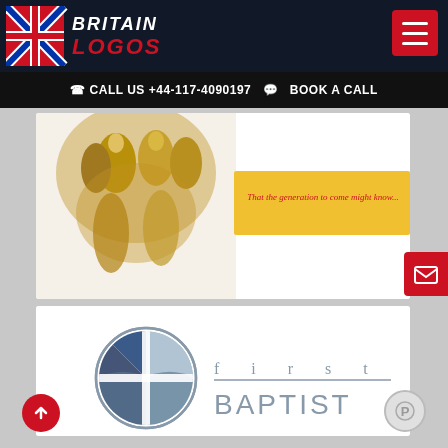BRITAIN LOGOS
☎ CALL US +44-117-4090197  💬 BOOK A CALL
[Figure (illustration): Religious/church banner image with golden figures and text 'That the generation to come might know...']
[Figure (logo): First Baptist Church logo with circular cross emblem in blue/grey and text 'first BAPTIST']